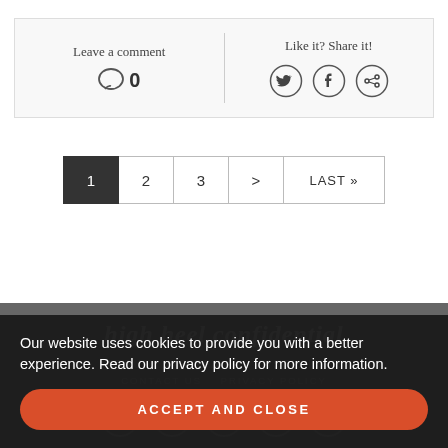Leave a comment
0
Like it? Share it!
[Figure (infographic): Social sharing icons: Twitter bird, Facebook f, and a share/link icon, each in a circle]
1  2  3  >  LAST »
high heel confidential
ABOUT   AD SPACE   DISCLAIMER
CONTACT US   PRIVACY POLICY
Our website uses cookies to provide you with a better experience. Read our privacy policy for more information.
ACCEPT AND CLOSE